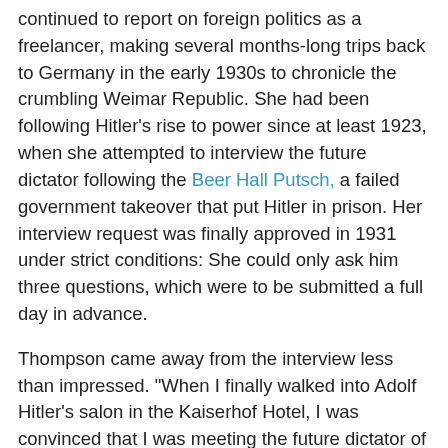continued to report on foreign politics as a freelancer, making several months-long trips back to Germany in the early 1930s to chronicle the crumbling Weimar Republic. She had been following Hitler's rise to power since at least 1923, when she attempted to interview the future dictator following the Beer Hall Putsch, a failed government takeover that put Hitler in prison. Her interview request was finally approved in 1931 under strict conditions: She could only ask him three questions, which were to be submitted a full day in advance.
Thompson came away from the interview less than impressed. "When I finally walked into Adolf Hitler's salon in the Kaiserhof Hotel, I was convinced that I was meeting the future dictator of Germany," she wrote. "In something less than fifty seconds I was quite sure that I was not. … He is formless, almost faceless: a man whose countenance is a caricature; a man whose framework seems cartilaginous, without bones.